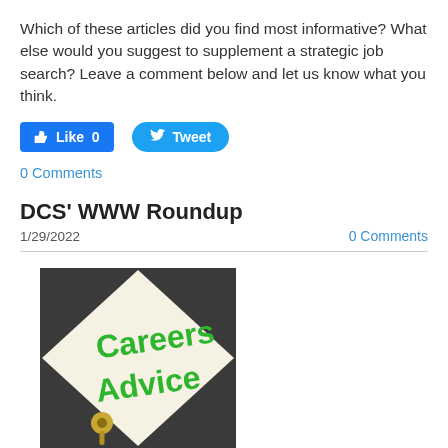Which of these articles did you find most informative? What else would you suggest to supplement a strategic job search? Leave a comment below and let us know what you think.
[Figure (other): Facebook Like button (count: 0) and Twitter Tweet button]
0 Comments
DCS' WWW Roundup
1/29/2022
0 Comments
[Figure (photo): Photo of a sign reading 'Careers Advice' in green text on a white board, with a gold thumbtack, against a dark background.]